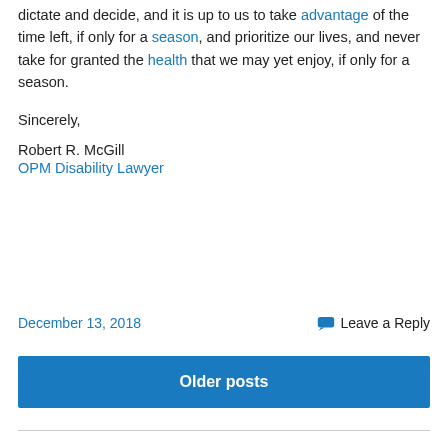dictate and decide, and it is up to us to take advantage of the time left, if only for a season, and prioritize our lives, and never take for granted the health that we may yet enjoy, if only for a season.
Sincerely,
Robert R. McGill
OPM Disability Lawyer
December 13, 2018
Leave a Reply
Older posts